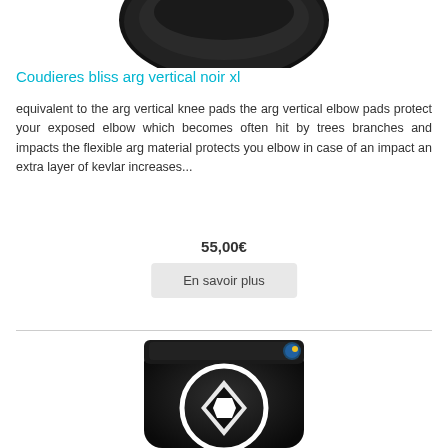[Figure (photo): Top portion of a black elbow pad product against white background]
Coudieres bliss arg vertical noir xl
equivalent to the arg vertical knee pads the arg vertical elbow pads protect your exposed elbow which becomes often hit by trees branches and impacts the flexible arg material protects you elbow in case of an impact an extra layer of kevlar increases...
55,00€
En savoir plus
[Figure (photo): Black elbow pad with white circular logo featuring a diamond shape, with a small badge on the top strap]